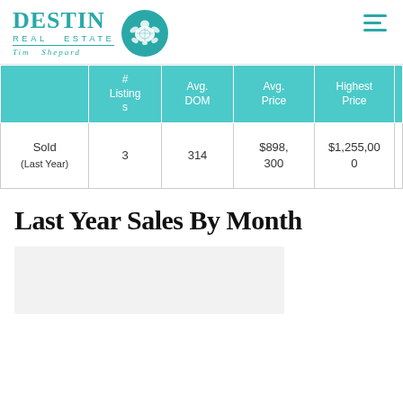Destin Real Estate Tim Shepard
|  | # Listings | Avg. DOM | Avg. Price | Highest Price |
| --- | --- | --- | --- | --- |
| Sold (Last Year) | 3 | 314 | $898,300 | $1,255,000 |
Last Year Sales By Month
[Figure (other): Partial chart area for Last Year Sales By Month, content not fully visible]